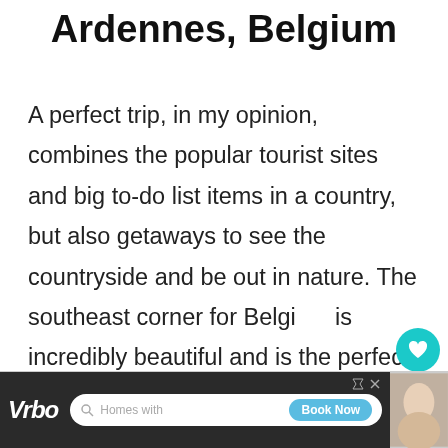Ardennes, Belgium
A perfect trip, in my opinion, combines the popular tourist sites and big to-do list items in a country, but also getaways to see the countryside and be out in nature. The southeast corner for Belgium is incredibly beautiful and is the perfect place to spend time outdoors in
[Figure (screenshot): Vrbo advertisement banner with search bar and Book Now button]
[Figure (infographic): What's Next panel showing Western Europe Roa... with thumbnail image, heart/like button showing 202, and share button]